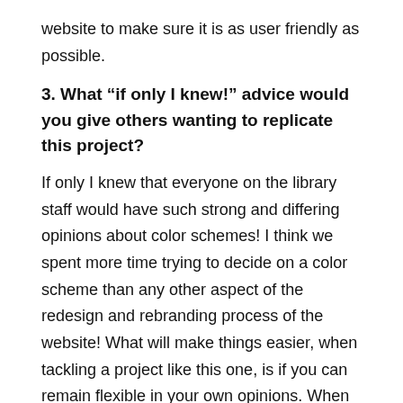website to make sure it is as user friendly as possible.
3. What “if only I knew!” advice would you give others wanting to replicate this project?
If only I knew that everyone on the library staff would have such strong and differing opinions about color schemes! I think we spent more time trying to decide on a color scheme than any other aspect of the redesign and rebranding process of the website! What will make things easier, when tackling a project like this one, is if you can remain flexible in your own opinions. When working on such a massive project, like this one, it is really easy to become protective of every single choice and decision that has to be made. Things are easier if